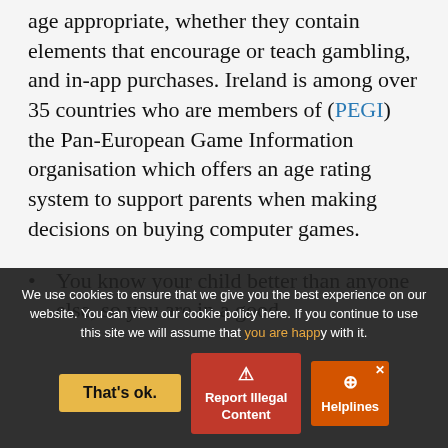age appropriate, whether they contain elements that encourage or teach gambling, and in-app purchases. Ireland is among over 35 countries who are members of (PEGI) the Pan-European Game Information organisation which offers an age rating system to support parents when making decisions on buying computer games.
You know your child better than anyone else, so you are in a good
We use cookies to ensure that we give you the best experience on our website. You can view our cookie policy here. If you continue to use this site we will assume that you are happy with it.